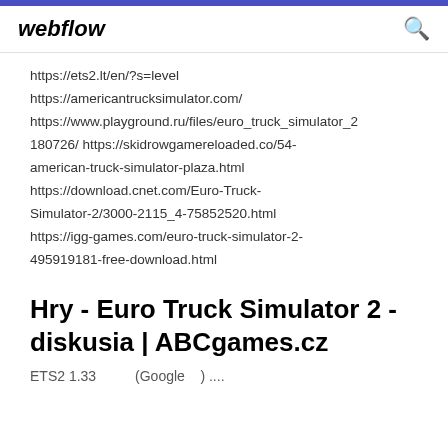webflow
https://ets2.lt/en/?s=level https://americantrucksimulator.com/ https://www.playground.ru/files/euro_truck_simulator_2180726/ https://skidrowgamereloaded.co/54-american-truck-simulator-plaza.html https://download.cnet.com/Euro-Truck-Simulator-2/3000-2115_4-75852520.html https://igg-games.com/euro-truck-simulator-2-495919181-free-download.html
Hry - Euro Truck Simulator 2 - diskusia | ABCgames.cz
ETS2 1.33          (Google    ) ....